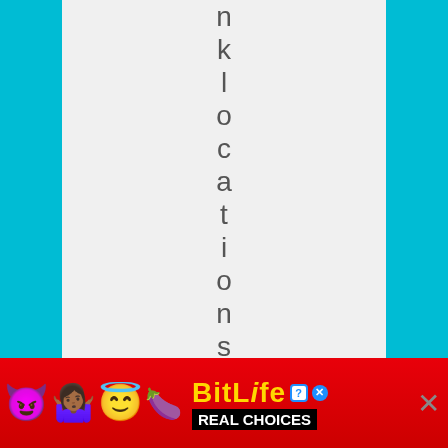nklocationsbutdid
[Figure (screenshot): Advertisement banner for BitLife game app with emoji characters (devil, woman shrugging, angel), sperm emoji, BitLife logo in yellow on red background, and 'REAL CHOICES' text. Close button (X) on right side.]